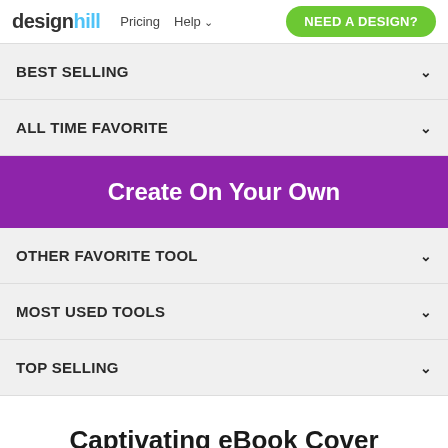designhill | Pricing | Help | NEED A DESIGN?
BEST SELLING
ALL TIME FAVORITE
Create On Your Own
OTHER FAVORITE TOOL
MOST USED TOOLS
TOP SELLING
Captivating eBook Cover Templates for All That You Need